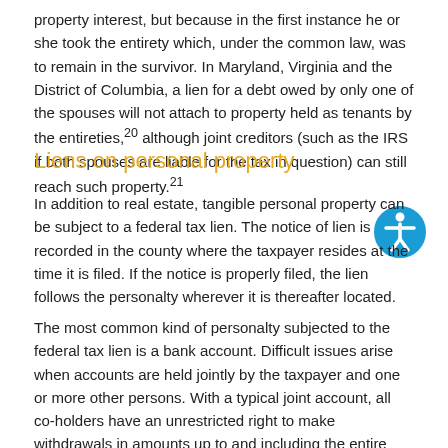property interest, but because in the first instance he or she took the entirety which, under the common law, was to remain in the survivor. In Maryland, Virginia and the District of Columbia, a lien for a debt owed by only one of the spouses will not attach to property held as tenants by the entireties,20 although joint creditors (such as the IRS if both spouses are liable for the tax in question) can still reach such property.21
Liens on personal property
In addition to real estate, tangible personal property can be subject to a federal tax lien. The notice of lien is recorded in the county where the taxpayer resides at the time it is filed. If the notice is properly filed, the lien follows the personalty wherever it is thereafter located.
The most common kind of personalty subjected to the federal tax lien is a bank account. Difficult issues arise when accounts are held jointly by the taxpayer and one or more other persons. With a typical joint account, all co-holders have an unrestricted right to make withdrawals in amounts up to and including the entire balance, regardless of who deposited the